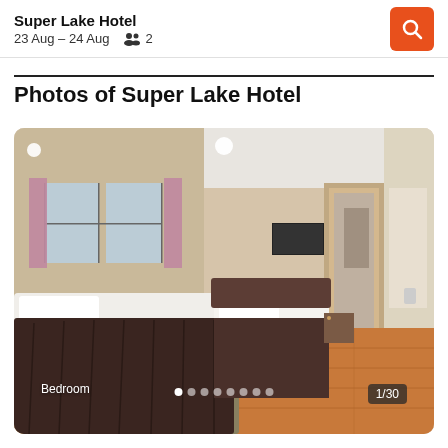Super Lake Hotel
23 Aug – 24 Aug  2
Photos of Super Lake Hotel
[Figure (photo): Hotel bedroom photo showing a large bed with dark bedspread, wooden floor, pink/mauve curtains, windows, wall-mounted TV, and bathroom area visible in background. Caption: Bedroom. Counter: 1/30.]